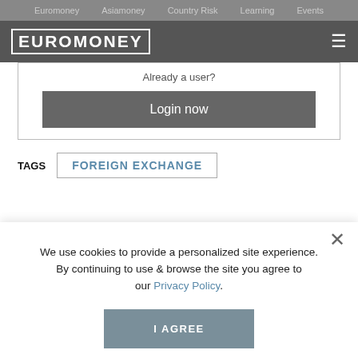Euromoney  Asiamoney  Country Risk  Learning  Events
[Figure (logo): Euromoney logo in bold white text with border on dark grey header bar with hamburger menu icon]
Already a user?
Login now
TAGS  FOREIGN EXCHANGE
We use cookies to provide a personalized site experience.
By continuing to use & browse the site you agree to our Privacy Policy.
I AGREE